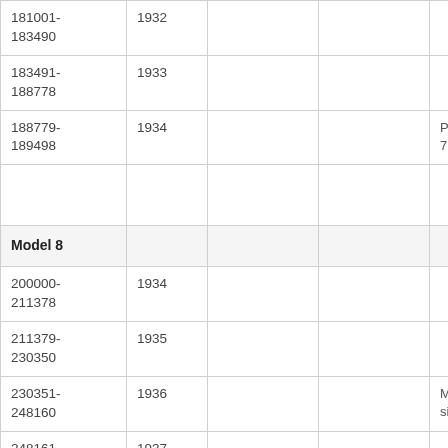| 181001-183490 | 1932 |  |  |  |
| 183491-188778 | 1933 |  |  |  |
| 188779-189498 | 1934 |  |  | Production en 7. begins Mo |
|  |  |  |  |  |
| Model 8 |  |  |  |  |
| 200000-211378 | 1934 |  |  |  |
| 211379-230350 | 1935 |  |  |  |
| 230351-248160 | 1936 |  |  | Model 8a and simplified an |
| 248161-275007 | 1937 |  |  |  |